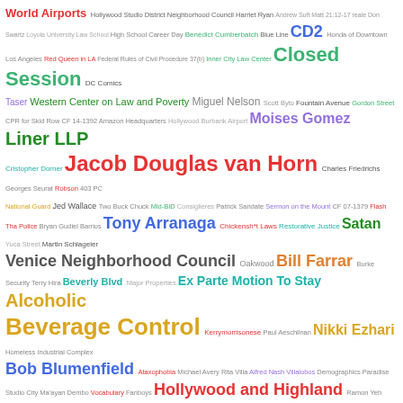[Figure (infographic): Word cloud featuring terms related to Los Angeles city government, neighborhoods, legal topics, and public figures. Words appear in various colors (red, green, blue, orange, purple, teal, olive) and sizes proportional to frequency/importance. Largest words include 'Downtown Industrial District BID', 'Department of Neighborhood Empowerment', 'Jacob Douglas van Horn', 'Alcoholic Beverage Control', 'Venice Neighborhood Council', 'Liner LLP', 'Hollywood and Highland', 'Shayla Myers', 'Young Minney & Corr', 'Colleen Flynn', 'Tony Arranaga', 'Satan', 'Bill Farrar', 'Closed Session', 'Moises Gomez', 'Bob Blumenfield', 'Nikki Ezhari', 'Beverly Blvd', 'Ex Parte Motion To Stay', and many smaller terms.]